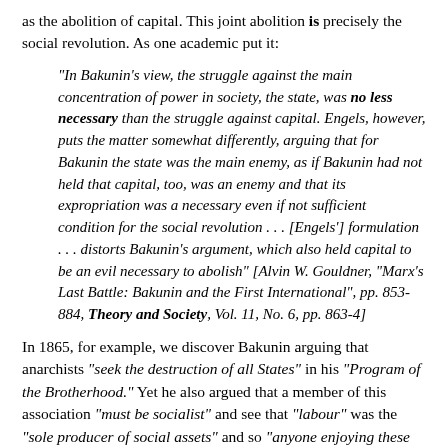as the abolition of capital. This joint abolition is precisely the social revolution. As one academic put it:
"In Bakunin's view, the struggle against the main concentration of power in society, the state, was no less necessary than the struggle against capital. Engels, however, puts the matter somewhat differently, arguing that for Bakunin the state was the main enemy, as if Bakunin had not held that capital, too, was an enemy and that its expropriation was a necessary even if not sufficient condition for the social revolution . . . [Engels'] formulation . . . distorts Bakunin's argument, which also held capital to be an evil necessary to abolish" [Alvin W. Gouldner, "Marx's Last Battle: Bakunin and the First International", pp. 853-884, Theory and Society, Vol. 11, No. 6, pp. 863-4]
In 1865, for example, we discover Bakunin arguing that anarchists "seek the destruction of all States" in his "Program of the Brotherhood." Yet he also argued that a member of this association "must be socialist" and see that "labour" was the "sole producer of social assets" and so "anyone enjoying these without working is an exploiter of another man's labour, a thief." They must also "understand that there is no liberty in the absence of equality" and